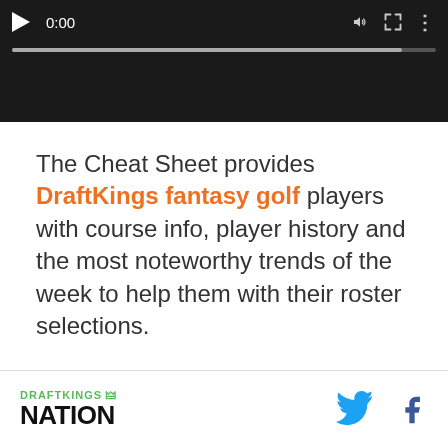[Figure (screenshot): Video player with dark background showing controls: play button, timestamp 0:00, speaker icon, fullscreen icon, three-dots menu, and a progress bar.]
The Cheat Sheet provides DraftKings fantasy golf players with course info, player history and the most noteworthy trends of the week to help them with their roster selections.
DRAFTKINGS NATION [logo] [Twitter icon] [Facebook icon]